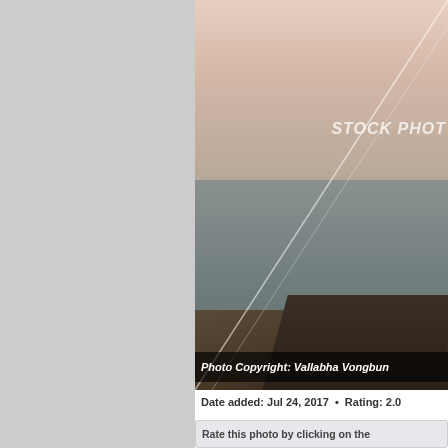[Figure (photo): Stock photo of a wooden dock/pier extending toward a calm sea at sunset/dusk, with hazy sky. Diagonal watermark lines cross the image. Text 'STOCK PHOTO' visible in upper right area.]
Photo Copyright: Vallabha Vongbun
Date added: Jul 24, 2017  •  Rating: 2.0
Rate this photo by clicking on the